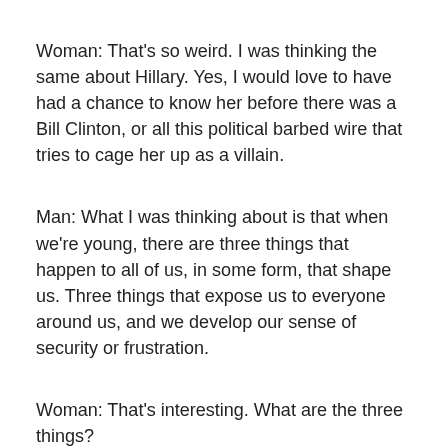Woman: That’s so weird. I was thinking the same about Hillary. Yes, I would love to have had a chance to know her before there was a Bill Clinton, or all this political barbed wire that tries to cage her up as a villain.
Man: What I was thinking about is that when we’re young, there are three things that happen to all of us, in some form, that shape us. Three things that expose us to everyone around us, and we develop our sense of security or frustration.
Woman: That’s interesting. What are the three things?